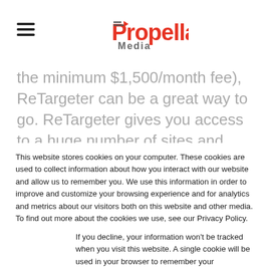Propellant Media
the minimum $1,500/month fee), ReTargeter can be a great way to go. ReTargeter gives you access to a huge number of sites and customization options, especially if you want to retarget people on search or using their email address.
This website stores cookies on your computer. These cookies are used to collect information about how you interact with our website and allow us to remember you. We use this information in order to improve and customize your browsing experience and for analytics and metrics about our visitors both on this website and other media. To find out more about the cookies we use, see our Privacy Policy.
If you decline, your information won't be tracked when you visit this website. A single cookie will be used in your browser to remember your preference not to be tracked.
Accept
Decline